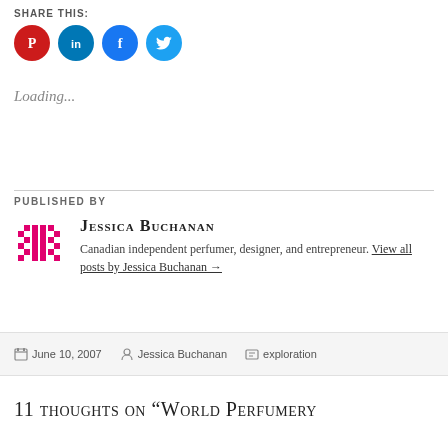SHARE THIS:
[Figure (infographic): Four circular social share buttons: Pinterest (red), LinkedIn (blue), Facebook (blue), Twitter (light blue)]
Loading...
PUBLISHED BY
[Figure (other): Author avatar: pink pixel-art grid icon for Jessica Buchanan]
Jessica Buchanan
Canadian independent perfumer, designer, and entrepreneur. View all posts by Jessica Buchanan →
June 10, 2007  Jessica Buchanan  exploration
11 thoughts on "World Perfumery